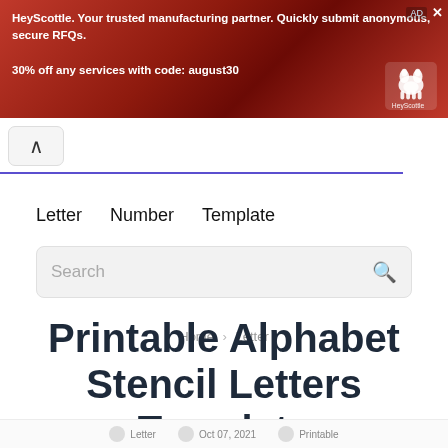[Figure (screenshot): Red advertisement banner for HeyScottle manufacturing partner service with white dog logo]
HeyScottle. Your trusted manufacturing partner. Quickly submit anonymous, secure RFQs.
30% off any services with code: august30
[Figure (screenshot): Navigation bar with back arrow button and purple underline progress bar]
Letter   Number   Template
Search
Home › Letter
Printable Alphabet Stencil Letters Template